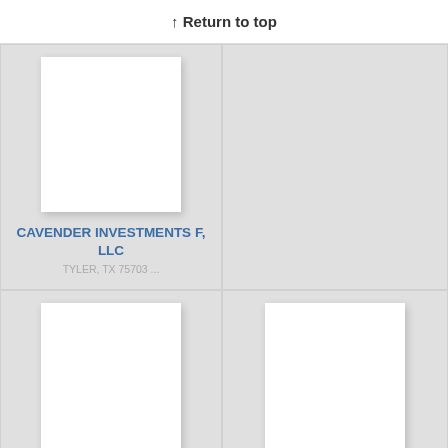↑ Return to top
CAVENDER INVESTMENTS F, LLC
TYLER, TX 75703 ...
VI-WOLF, LLC
EL CAMPO, TX 77437 – TX, United States ...
WE MANAGE STUFF, LLC
AUSTIN, TX 78773 ...